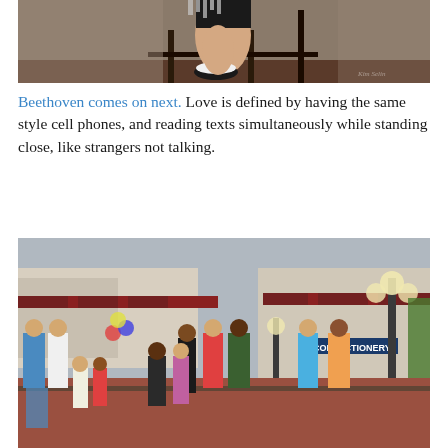[Figure (photo): Close-up photo of a person's legs and feet dangling over a railing, wearing black shorts and black sandals, against a dark background.]
Beethoven comes on next. Love is defined by having the same style cell phones, and reading texts simultaneously while standing close, like strangers not talking.
[Figure (photo): Crowd of people walking along a promenade at what appears to be Disney's Magic Kingdom, with a Confectionery shop, lamp posts, and buildings visible in the background.]